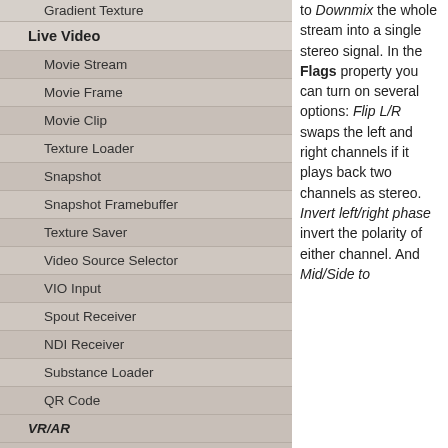Gradient Texture
Live Video
Movie Stream
Movie Frame
Movie Clip
Texture Loader
Snapshot
Snapshot Framebuffer
Texture Saver
Video Source Selector
VIO Input
Spout Receiver
NDI Receiver
Substance Loader
QR Code
VR/AR
Tracked Devices
to Downmix the whole stream into a single stereo signal. In the Flags property you can turn on several options: Flip L/R swaps the left and right channels if it plays back two channels as stereo. Invert left/right phase invert the polarity of either channel. And Mid/Side to